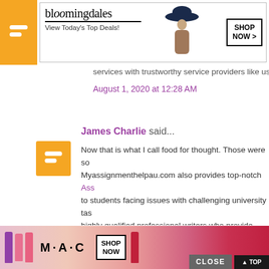[Figure (screenshot): Bloomingdale's advertisement banner: 'View Today's Top Deals!' with a woman in a hat and 'SHOP NOW >' button]
services with trustworthy service providers like us.
August 1, 2020 at 12:28 AM
James Charlie said...
Now that is what I call food for thought. Those were so... Myassignmenthelpau.com also provides top-notch Ass... to students facing issues with challenging university tas... highly qualified professional writers who provide specia... all your academic assignments with impeccable custom...
August 4, 2020 at 3:20 AM
Assignment Help Australia said...
[Figure (screenshot): MAC cosmetics advertisement banner with lipsticks and 'SHOP NOW' button, overlaid with 'CLOSE' and 'GO TO TOP' buttons]